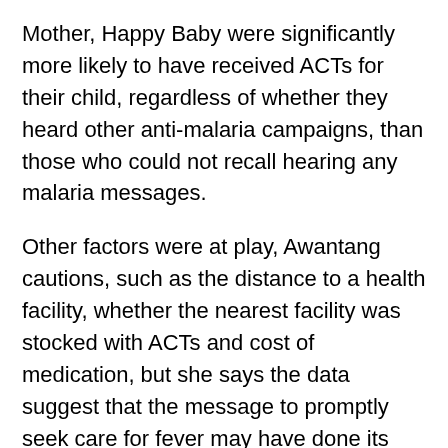Mother, Happy Baby were significantly more likely to have received ACTs for their child, regardless of whether they heard other anti-malaria campaigns, than those who could not recall hearing any malaria messages.
Other factors were at play, Awantang cautions, such as the distance to a health facility, whether the nearest facility was stocked with ACTs and cost of medication, but she says the data suggest that the message to promptly seek care for fever may have done its job.
“We are trying to figure out the best ways to get mothers to take their children to health facilities for necessary care,” she says. “This study suggests that memorable communication campaigns can help.”
“Correlates of social behavior change communication on